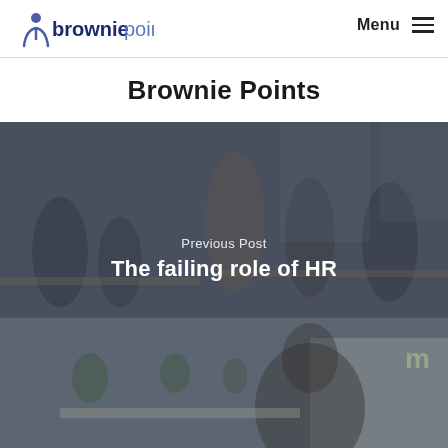[Figure (logo): Brownie Points logo with stylized person icon and text 'browniepoints' in blue/dark blue]
Menu
Brownie Points
[Figure (photo): Office scene with group of people in a meeting, overlaid with text 'Previous Post' and heading 'The failing role of HR']
Previous Post
The failing role of HR
[Figure (photo): Partial office scene with people, partially cropped at bottom of page]